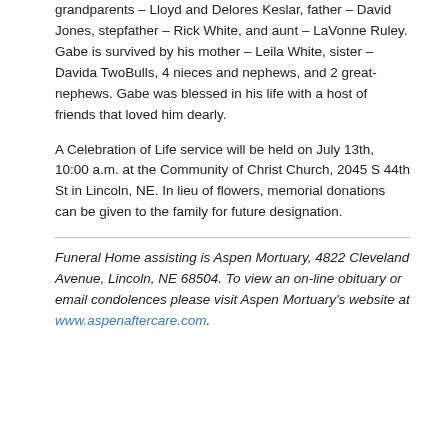grandparents – Lloyd and Delores Keslar, father – David Jones, stepfather – Rick White, and aunt – LaVonne Ruley. Gabe is survived by his mother – Leila White, sister – Davida TwoBulls, 4 nieces and nephews, and 2 great-nephews. Gabe was blessed in his life with a host of friends that loved him dearly.
A Celebration of Life service will be held on July 13th, 10:00 a.m. at the Community of Christ Church, 2045 S 44th St in Lincoln, NE. In lieu of flowers, memorial donations can be given to the family for future designation.
Funeral Home assisting is Aspen Mortuary, 4822 Cleveland Avenue, Lincoln, NE 68504. To view an on-line obituary or email condolences please visit Aspen Mortuary's website at www.aspenaftercare.com.